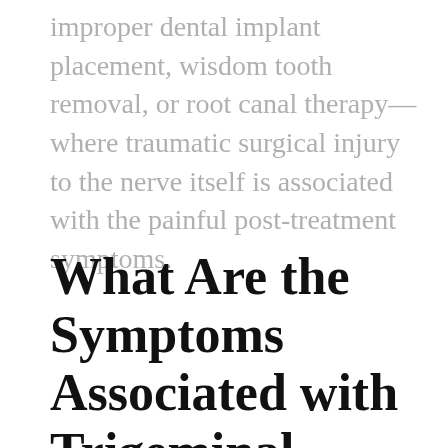improper dental implant placement, wisdom tooth removal, or root canal therapy—where traumatic surgical injury to the nerve itself is associated with the painful post-treatment symptoms.
What Are the Symptoms Associated with Trigeminal